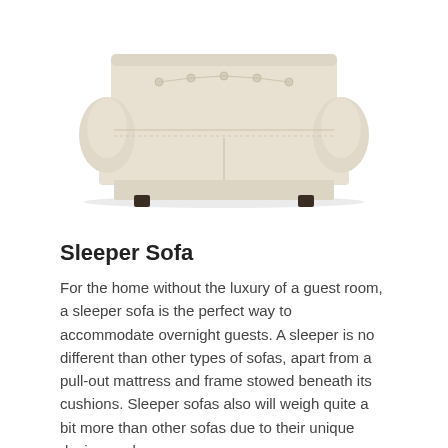[Figure (photo): A beige/cream colored sleeper sofa with rolled arms, tufted back cushions, and dark wooden legs, photographed on a white background.]
Sleeper Sofa
For the home without the luxury of a guest room, a sleeper sofa is the perfect way to accommodate overnight guests. A sleeper is no different than other types of sofas, apart from a pull-out mattress and frame stowed beneath its cushions. Sleeper sofas also will weigh quite a bit more than other sofas due to their unique design, so keep